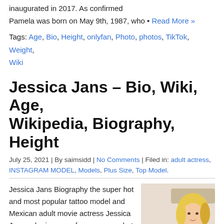inaugurated in 2017. As confirmed
Pamela was born on May 9th, 1987, who • Read More »
Tags: Age, Bio, Height, onlyfan, Photo, photos, TikTok, Weight, Wiki
Jessica Jans – Bio, Wiki, Age, Wikipedia, Biography, Height
July 25, 2021 | By saimsidd | No Comments | Filed in: adult actress, INSTAGRAM MODEL, Models, Plus Size, Top Model.
Jessica Jans Biography the super hot and most popular tattoo model and Mexican adult movie actress Jessica Jans , she is a very famous super hot with tattoos curve body maxican female model, and very talented with
[Figure (photo): Photo of Jessica Jans, a blonde woman with tattoos wearing a black top, sitting indoors]